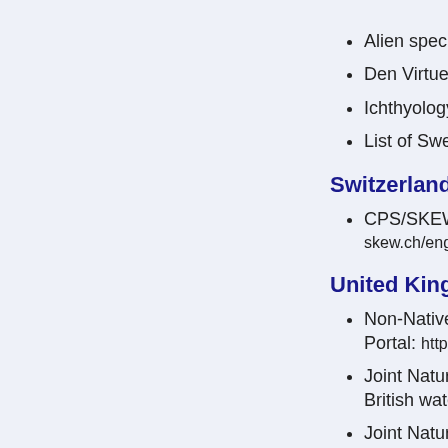Alien specie…
Den Virtuell…
Ichthyology
List of Swed…
Switzerland
CPS/SKEW… skew.ch/engli…
United Kingdom
Non-Native … Portal: https:…
Joint Nature… British wate…
Joint Nature… Territories a…
Invasive Alie…
RAFTS Inva…
Chinese mit… online/life/othe…